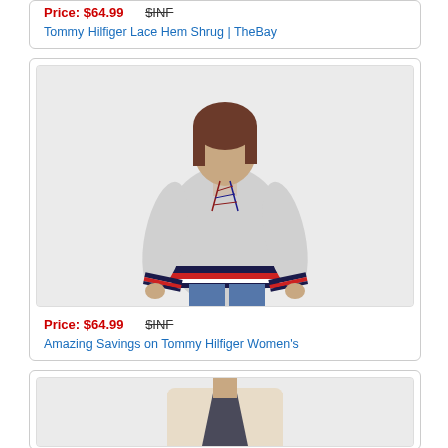Price: $64.99  $INF
Tommy Hilfiger Lace Hem Shrug | TheBay
[Figure (photo): Woman wearing a grey Tommy Hilfiger lace-up hoodie sweatshirt with navy, red and white stripes at hem and cuffs, paired with blue jeans]
Price: $64.99  $INF
Amazing Savings on Tommy Hilfiger Women's
[Figure (photo): Partial view of a woman wearing a cream/beige cardigan over a dark top]